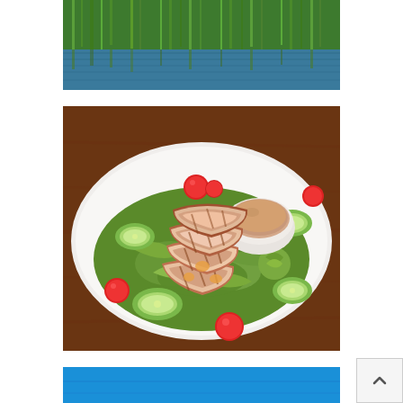[Figure (photo): Photo of a natural landscape with tall green reeds/grasses reflected in blue water below]
[Figure (photo): Photo of a food dish: a white oval plate with sliced grilled tuna or meat served over a green salad with cucumber slices, cherry tomatoes, and a small ramekin of creamy dipping sauce]
[Figure (photo): Partial photo showing a bright blue background, likely sky or water, partially obscured by a scroll-to-top UI button in the bottom right corner]